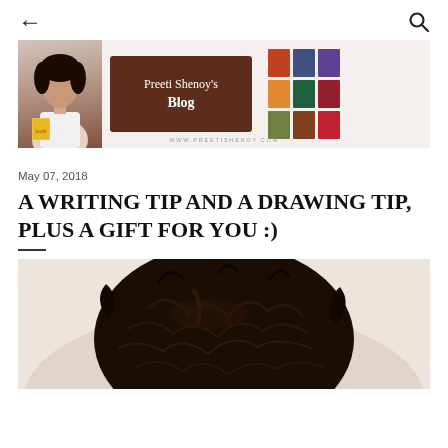← [back] [search]
[Figure (illustration): Preeti Shenoy's Blog banner with author photo on left, brown title box in center reading 'Preeti Shenoy's Blog', book covers grid on right, URL www.preetishenoy.com at bottom]
May 07, 2018
A WRITING TIP AND A DRAWING TIP, PLUS A GIFT FOR YOU :)
[Figure (photo): Photo showing top of a person's head with dark curly/messy hair, viewed from above, against a light background]